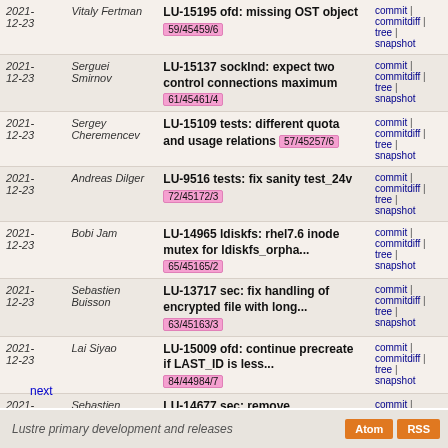| Date | Author | Subject | Links |
| --- | --- | --- | --- |
| 2021-12-23 | Vitaly Fertman | LU-15195 ofd: missing OST object 59/45459/6 | commit | commitdiff | tree | snapshot |
| 2021-12-23 | Serguei Smirnov | LU-15137 sockInd: expect two control connections maximum 61/45461/4 | commit | commitdiff | tree | snapshot |
| 2021-12-23 | Sergey Cheremencev | LU-15109 tests: different quota and usage relations 57/45257/6 | commit | commitdiff | tree | snapshot |
| 2021-12-23 | Andreas Dilger | LU-9516 tests: fix sanity test_24v 72/45172/3 | commit | commitdiff | tree | snapshot |
| 2021-12-23 | Bobi Jam | LU-14965 ldiskfs: rhel7.6 inode mutex for ldiskfs_orpha... 65/45165/2 | commit | commitdiff | tree | snapshot |
| 2021-12-23 | Sebastien Buisson | LU-13717 sec: fix handling of encrypted file with long... 63/45163/3 | commit | commitdiff | tree | snapshot |
| 2021-12-23 | Lai Siyao | LU-15009 ofd: continue precreate if LAST_ID is less... 84/44984/7 | commit | commitdiff | tree | snapshot |
| 2021-12-23 | Sebastien Buisson | LU-14677 sec: remove MIGRATION_ compatibility defines 57/44957/11 | commit | commitdiff | tree | snapshot |
next
Lustre primary development and releases